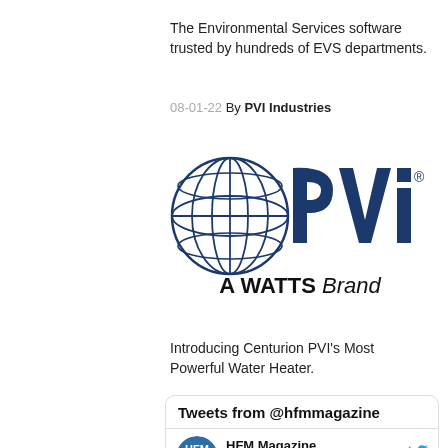The Environmental Services software trusted by hundreds of EVS departments.
08-01-22 By PVI Industries
[Figure (logo): PVI Industries logo with globe graphic and 'A WATTS Brand' tagline]
Introducing Centurion PVI's Most Powerful Water Heater.
Tweets from @hfmmagazine
HFM Magazine @hfmmagazi... · Aug 18
Leaders from @DLRGroup lay out